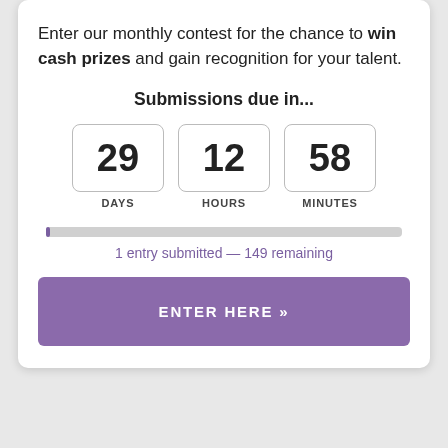Enter our monthly contest for the chance to win cash prizes and gain recognition for your talent.
Submissions due in...
[Figure (infographic): Countdown timer showing 29 DAYS, 12 HOURS, 58 MINUTES in bordered boxes]
[Figure (infographic): Progress bar nearly empty with label: 1 entry submitted — 149 remaining]
ENTER HERE »